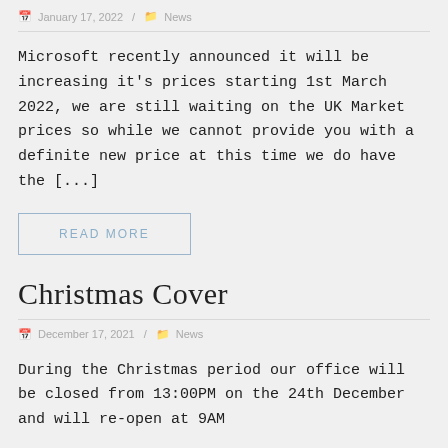January 17, 2022 / News
Microsoft recently announced it will be increasing it's prices starting 1st March 2022, we are still waiting on the UK Market prices so while we cannot provide you with a definite new price at this time we do have the [...]
READ MORE
Christmas Cover
December 17, 2021 / News
During the Christmas period our office will be closed from 13:00PM on the 24th December and will re-open at 9AM